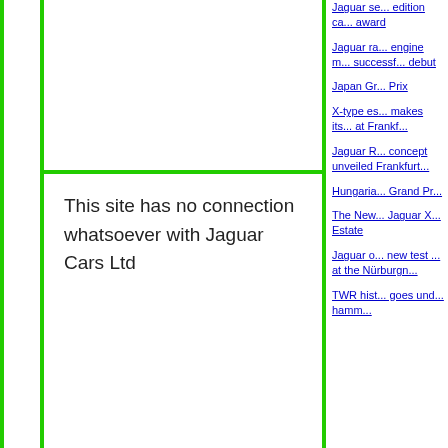This site has no connection whatsoever with Jaguar Cars Ltd
Jaguar se... edition ca... award
Jaguar ra... engine m... successf... debut
Japan Gr... Prix
X-type es... makes its... at Frankf...
Jaguar R... concept unveiled Frankfurt...
Hungaria... Grand Pr...
The New... Jaguar X... Estate
Jaguar o... new test ... at the Nürburgn...
TWR hist... goes und... hamm...